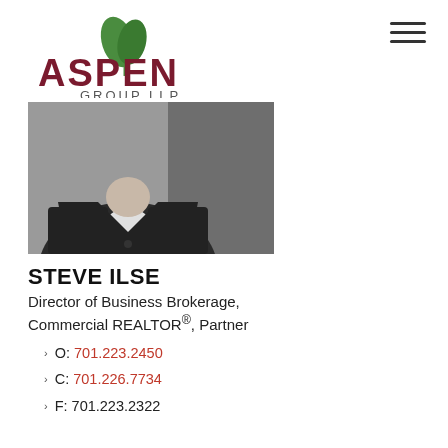[Figure (logo): Aspen Group LLP logo with green leaf and dark red ASPEN text]
[Figure (photo): Black and white professional headshot of a man in a dark suit with white shirt, no face visible (cropped at shoulders/neck)]
STEVE ILSE
Director of Business Brokerage, Commercial REALTOR®, Partner
O: 701.223.2450
C: 701.226.7734
F: 701.223.2322